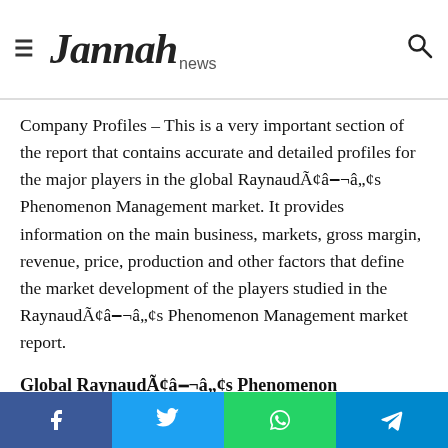Jannah news
Company Profiles – This is a very important section of the report that contains accurate and detailed profiles for the major players in the global RaynaudÃ¢â‒¬â„¢s Phenomenon Management market. It provides information on the main business, markets, gross margin, revenue, price, production and other factors that define the market development of the players studied in the RaynaudÃ¢â‒¬â„¢s Phenomenon Management market report.
Global RaynaudÃ¢â‒¬â„¢s Phenomenon Management Market: Regional Segments
The different section on regional segmentation gives the regional aspects of the worldwide RaynaudÃ¢â‒¬â„¢s…